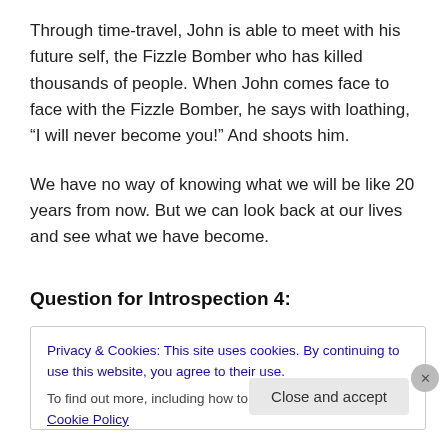Through time-travel, John is able to meet with his future self, the Fizzle Bomber who has killed thousands of people. When John comes face to face with the Fizzle Bomber, he says with loathing, “I will never become you!” And shoots him.
We have no way of knowing what we will be like 20 years from now. But we can look back at our lives and see what we have become.
Question for Introspection 4:
Privacy & Cookies: This site uses cookies. By continuing to use this website, you agree to their use.
To find out more, including how to control cookies, see here: Cookie Policy
Close and accept